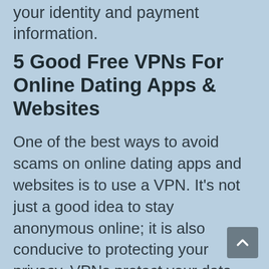your identity and payment information.
5 Good Free VPNs For Online Dating Apps & Websites
One of the best ways to avoid scams on online dating apps and websites is to use a VPN. It’s not just a good idea to stay anonymous online; it is also conducive to protecting your privacy. VPNs protect your data from being accessed by other parties; it is crucial to saving login details. A VPN that provides top-notch security is essential if you plan to use dating apps and websites.